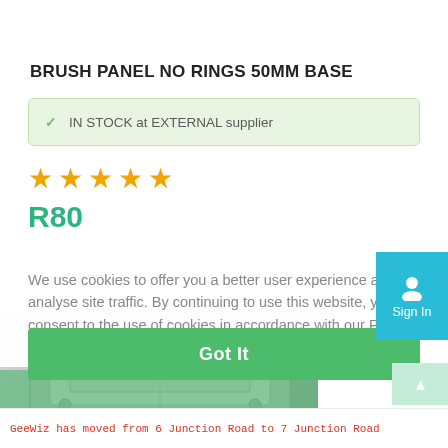BRUSH PANEL NO RINGS 50MM BASE
✓ IN STOCK at EXTERNAL supplier
[Figure (other): Five gold star rating icons]
R80
We use cookies to offer you a better user experience and analyse site traffic. By continuing to use this website, you consent to the use of cookies in accordance with our Privacy Policy  Learn More
[Figure (photo): Product image of brush panel metal base component, partially visible behind cookie consent overlay]
Got It
Sign In
GeeWiz has moved from 6 Junction Road to 7 Junction Road